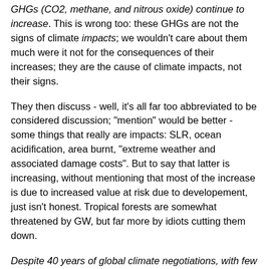GHGs (CO2, methane, and nitrous oxide) continue to increase. This is wrong too: these GHGs are not the signs of climate impacts; we wouldn't care about them much were it not for the consequences of their increases; they are the cause of climate impacts, not their signs.
They then discuss - well, it's all far too abbreviated to be considered discussion; "mention" would be better - some things that really are impacts: SLR, ocean acidification, area burnt, "extreme weather and associated damage costs". But to say that latter is increasing, without mentioning that most of the increase is due to increased value at risk due to developement, just isn't honest. Tropical forests are somewhat threatened by GW, but far more by idiots cutting them down.
Despite 40 years of global climate negotiations, with few exceptions, we have generally conducted business as usual and have largely failed to address this predicament is largely true, and alas people including Ripple et al. have failed to learn anything from all that failure. The climate crisis has arrived and is accelerating faster than most scientists